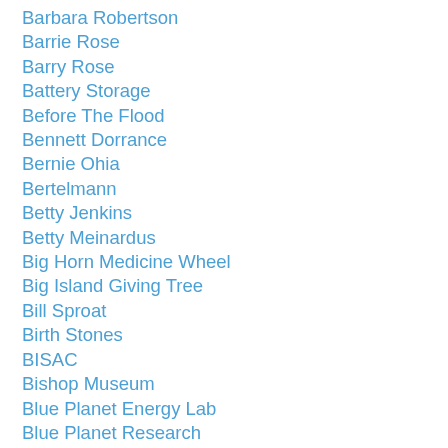Barbara Robertson
Barrie Rose
Barry Rose
Battery Storage
Before The Flood
Bennett Dorrance
Bernie Ohia
Bertelmann
Betty Jenkins
Betty Meinardus
Big Horn Medicine Wheel
Big Island Giving Tree
Bill Sproat
Birth Stones
BISAC
Bishop Museum
Blue Planet Energy Lab
Blue Planet Research
Bobbi Caputo
Bob Juettner
Bonaire